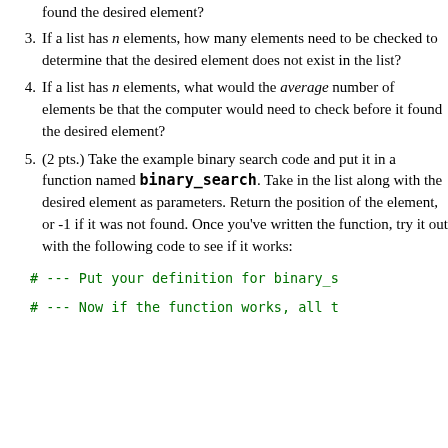found the desired element?
3. If a list has n elements, how many elements need to be checked to determine that the desired element does not exist in the list?
4. If a list has n elements, what would the average number of elements be that the computer would need to check before it found the desired element?
5. (2 pts.) Take the example binary search code and put it in a function named binary_search. Take in the list along with the desired element as parameters. Return the position of the element, or -1 if it was not found. Once you've written the function, try it out with the following code to see if it works:
# --- Put your definition for binary_s
# --- Now if the function works, all t